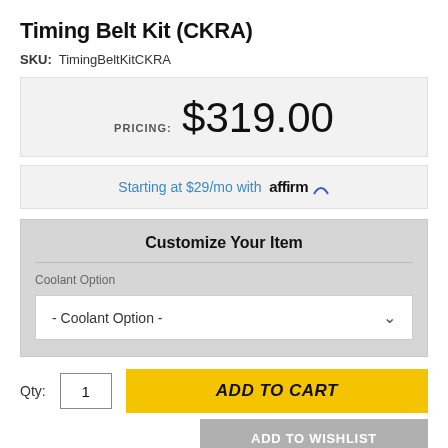Timing Belt Kit (CKRA)
SKU: TimingBeltKitCKRA
PRICING: $319.00
Starting at $29/mo with affirm
Customize Your Item
Coolant Option
- Coolant Option -
Qty: 1
ADD TO CART
ADD TO WISHLIST